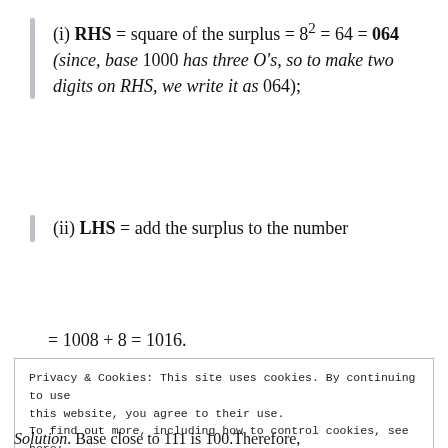(i) RHS = square of the surplus = 8² = 64 = 064 (since, base 1000 has three 0's, so to make two digits on RHS, we write it as 064);
(ii) LHS = add the surplus to the number
Privacy & Cookies: This site uses cookies. By continuing to use this website, you agree to their use.
To find out more, including how to control cookies, see here: Cookie Policy
Solution. Base close to 111 is 100.Therefore,